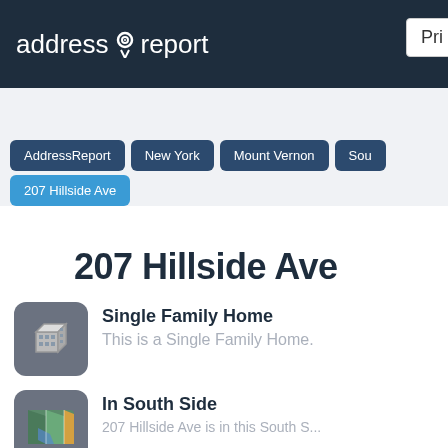address report | Pri
AddressReport | New York | Mount Vernon | Sou
207 Hillside Ave
207 Hillside Ave
Single Family Home
This is a Single Family Home.
In South Side
207 Hillside Ave is in this South S...